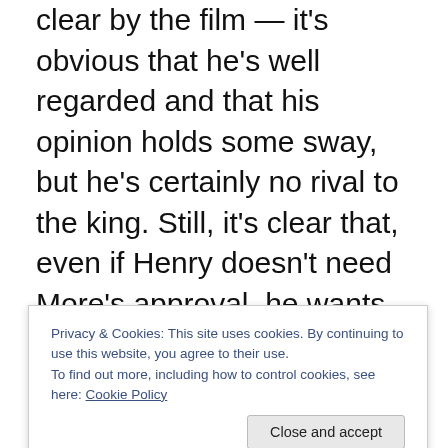clear by the film — it's obvious that he's well regarded and that his opinion holds some sway, but he's certainly no rival to the king. Still, it's clear that, even if Henry doesn't need More's approval, he wants it, and More just isn't willing to offer it.
From that disagreement stems two hours of political and religious discussion, culminating in imprisonment and death on one side, and the establishment of a new church on the other. Dramatic consequences for a dude who just wants to make little princes with someone who isn't his wife. Still, you'll note that I don't say political intrigue:
Privacy & Cookies: This site uses cookies. By continuing to use this website, you agree to their use. To find out more, including how to control cookies, see here: Cookie Policy
mines much of the same source material for boudoir-